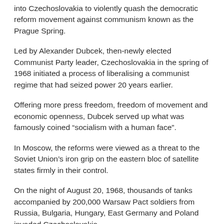into Czechoslovakia to violently quash the democratic reform movement against communism known as the Prague Spring.
Led by Alexander Dubcek, then-newly elected Communist Party leader, Czechoslovakia in the spring of 1968 initiated a process of liberalising a communist regime that had seized power 20 years earlier.
Offering more press freedom, freedom of movement and economic openness, Dubcek served up what was famously coined “socialism with a human face”.
In Moscow, the reforms were viewed as a threat to the Soviet Union’s iron grip on the eastern bloc of satellite states firmly in their control.
On the night of August 20, 1968, thousands of tanks accompanied by 200,000 Warsaw Pact soldiers from Russia, Bulgaria, Hungary, East Germany and Poland invaded Czechoslovakia.